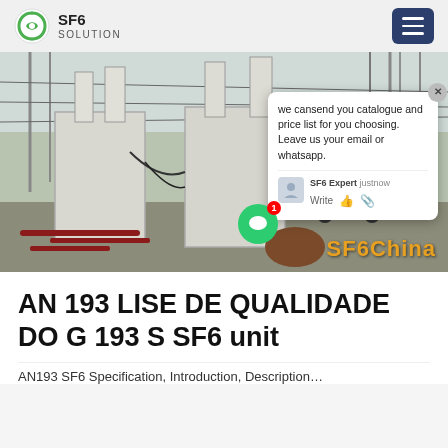SF6 SOLUTION
[Figure (photo): Outdoor electrical substation with large SF6 gas insulated transformer units in white, power transmission towers in background, yellow truck visible, red pipes on ground. Chat popup overlay with text: 'we cansend you catalogue and price list for you choosing. Leave us your email or whatsapp.' SF6 Expert justnow. Write. Watermark: SF6China]
AN 193 LISE DE QUALIDADE DO G 193 S SF6 unit
AN193 SF6 Specification, Introduction, Description…